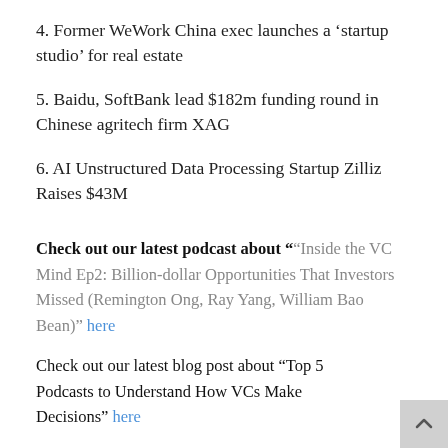4. Former WeWork China exec launches a ‘startup studio’ for real estate
5. Baidu, SoftBank lead $182m funding round in Chinese agritech firm XAG
6. AI Unstructured Data Processing Startup Zilliz Raises $43M
Check out our latest podcast about “Inside the VC Mind Ep2: Billion-dollar Opportunities That Investors Missed (Remington Ong, Ray Yang, William Bao Bean)” here
Check out our latest blog post about “Top 5 Podcasts to Understand How VCs Make Decisions” here